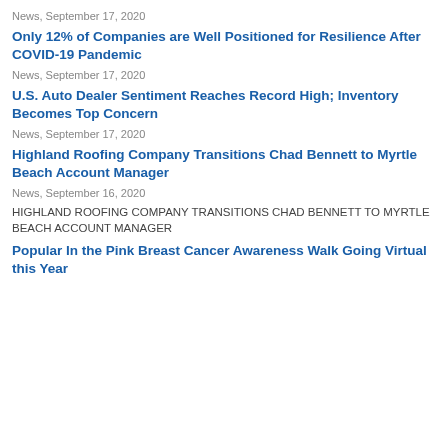News, September 17, 2020
Only 12% of Companies are Well Positioned for Resilience After COVID-19 Pandemic
News, September 17, 2020
U.S. Auto Dealer Sentiment Reaches Record High; Inventory Becomes Top Concern
News, September 17, 2020
Highland Roofing Company Transitions Chad Bennett to Myrtle Beach Account Manager
News, September 16, 2020
HIGHLAND ROOFING COMPANY TRANSITIONS CHAD BENNETT TO MYRTLE BEACH ACCOUNT MANAGER
Popular In the Pink Breast Cancer Awareness Walk Going Virtual this Year